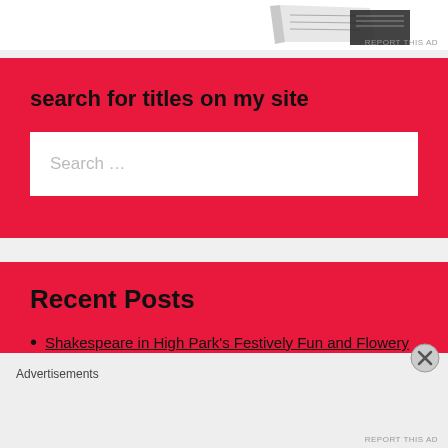[Figure (other): Advertisement banner image at the top of the page showing a book or notebook graphic]
REPORT THIS AD
search for titles on my site
Search …
Recent Posts
Shakespeare in High Park's Festively Fun and Flowery As You Like It Does the Bard Proud
August 17, 2022
Advertisements
REPORT THIS AD